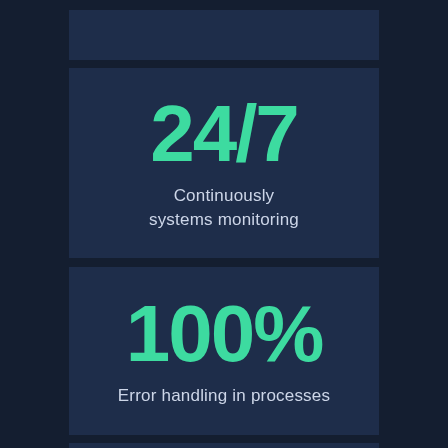[Figure (infographic): Infographic card showing '24/7' in large teal text with subtitle 'Continuously systems monitoring' on a dark navy background]
[Figure (infographic): Infographic card showing '100%' in large teal text with subtitle 'Error handling in processes' on a dark navy background]